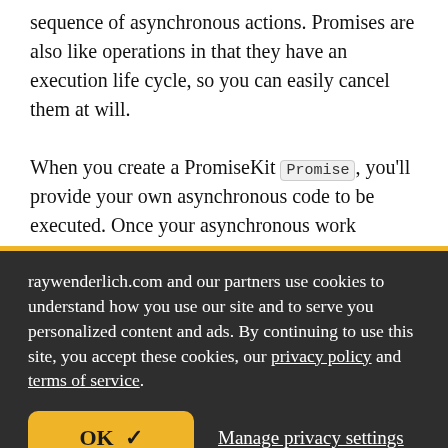sequence of asynchronous actions. Promises are also like operations in that they have an execution life cycle, so you can easily cancel them at will.

When you create a PromiseKit Promise , you'll provide your own asynchronous code to be executed. Once your asynchronous work completes, you'll fulfill your Promise with a value, which will cause the Promise's then block to execute. If you then
raywenderlich.com and our partners use cookies to understand how you use our site and to serve you personalized content and ads. By continuing to use this site, you accept these cookies, our privacy policy and terms of service.
OK ✓   Manage privacy settings